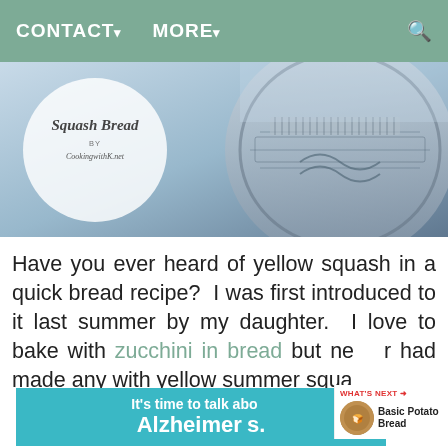CONTACT▾   MORE▾
[Figure (photo): Squash Bread recipe image with decorative plate, text overlay circle reading 'Squash Bread by CookingwithK.net']
Have you ever heard of yellow squash in a quick bread recipe?  I was first introduced to it last summer by my daughter.  I love to bake with zucchini in bread but never had made any with yellow summer squash.
[Figure (screenshot): Advertisement banner: It's time to talk about Alzheimer's. LEARN MORE]
WHAT'S NEXT → Basic Potato Bread